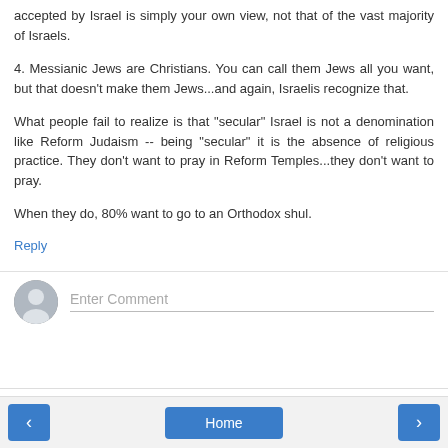accepted by Israel is simply your own view, not that of the vast majority of Israels.
4. Messianic Jews are Christians. You can call them Jews all you want, but that doesn't make them Jews...and again, Israelis recognize that.
What people fail to realize is that "secular" Israel is not a denomination like Reform Judaism -- being "secular" it is the absence of religious practice. They don't want to pray in Reform Temples...they don't want to pray.
When they do, 80% want to go to an Orthodox shul.
Reply
[Figure (other): Comment input area with avatar icon and Enter Comment placeholder text]
< Home >